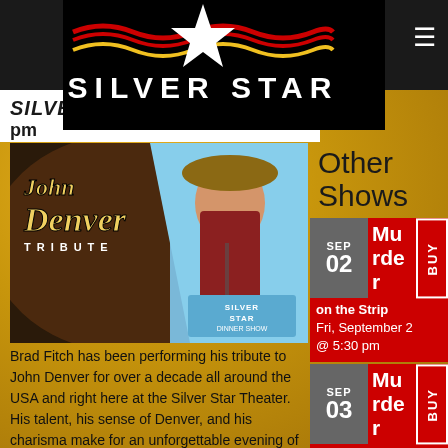Silver Star
SILVER STAR ... pm
[Figure (photo): John Denver Tribute show promotional image with performer in cowboy hat and Silver Star Dinner Show logo]
Brad Fitch has been performing his tribute to John Denver for over a decade all around the USA and right here at the Silver Star Theater. His talent, his sense of Denver, and his charisma make for an unforgettable evening of entertainment. Chek...
Other Shows
SEP 02 Murder on the Strip Fri, September 2 @ 5:30 pm BUY
SEP 03 Murder on the Strip Sat, September BUY